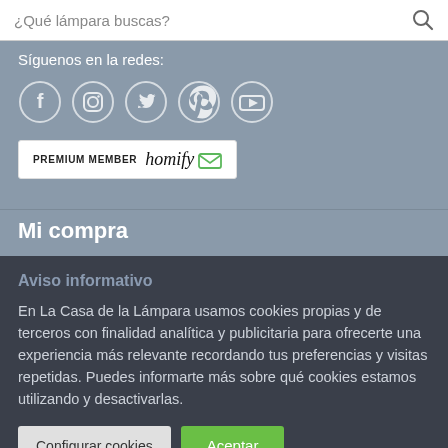¿Qué lámpara buscas?
Síguenos en la redes:
[Figure (infographic): Social media icons: Facebook, Instagram, Twitter, Pinterest, YouTube — circular outlined icons on grey background]
[Figure (logo): PREMIUM MEMBER homify badge — white background rectangle with text PREMIUM MEMBER and homify logo with envelope icon]
Mi compra
Aviso informativo
En La Casa de la Lámpara usamos cookies propias y de terceros con finalidad analítica y publicitaria para ofrecerte una experiencia más relevante recordando tus preferencias y visitas repetidas. Puedes informarte más sobre qué cookies estamos utilizando y desactivarlas.
Configurar cookies | Aceptar